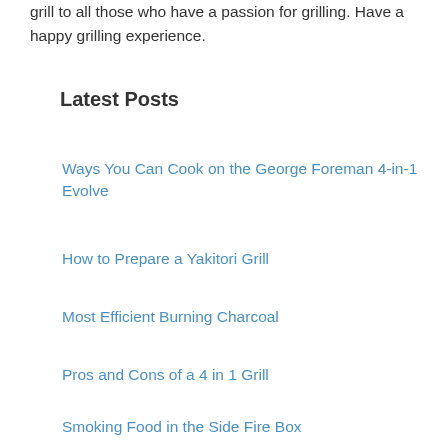grill to all those who have a passion for grilling. Have a happy grilling experience.
Latest Posts
Ways You Can Cook on the George Foreman 4-in-1 Evolve
How to Prepare a Yakitori Grill
Most Efficient Burning Charcoal
Pros and Cons of a 4 in 1 Grill
Smoking Food in the Side Fire Box